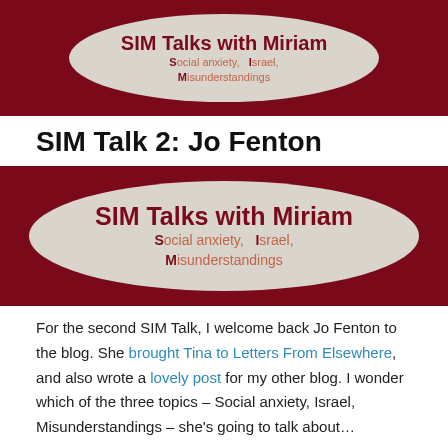[Figure (logo): SIM Talks with Miriam banner logo with dark red background and oval containing text: SIM Talks with Miriam, Social anxiety, Israel, Misunderstandings]
SIM Talk 2: Jo Fenton
[Figure (logo): SIM Talks with Miriam banner logo with dark red background and oval containing text: SIM Talks with Miriam, Social anxiety, Israel, Misunderstandings]
For the second SIM Talk, I welcome back Jo Fenton to the blog. She brought Tina to Letters From Elsewhere, and also wrote a lovely post for my other blog. I wonder which of the three topics – Social anxiety, Israel, Misunderstandings – she’s going to talk about…